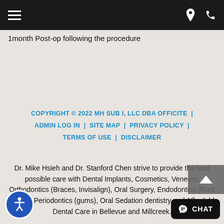Navigation bar with hamburger menu, location icon, and phone icon
1month Post-op following the procedure
COPYRIGHT © 2022 MH SUB I, LLC DBA OFFICITE | ADMIN LOG IN | SITE MAP | PRIVACY POLICY | TERMS OF USE | DISCLAIMER
Dr. Mike Hsieh and Dr. Stanford Chen strive to provide the best possible care with Dental Implants, Cosmetics, Veneers, Orthodontics (Braces, Invisalign), Oral Surgery, Endodonics (Root Canals), Periodontics (gums), Oral Sedation dentistry and Affordable Dental Care in Bellevue and Millcreek.